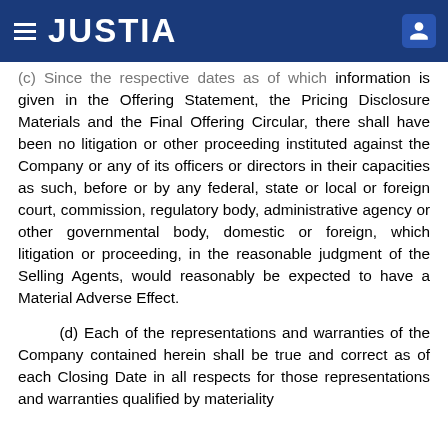JUSTIA
(c) Since the respective dates as of which information is given in the Offering Statement, the Pricing Disclosure Materials and the Final Offering Circular, there shall have been no litigation or other proceeding instituted against the Company or any of its officers or directors in their capacities as such, before or by any federal, state or local or foreign court, commission, regulatory body, administrative agency or other governmental body, domestic or foreign, which litigation or proceeding, in the reasonable judgment of the Selling Agents, would reasonably be expected to have a Material Adverse Effect.
(d) Each of the representations and warranties of the Company contained herein shall be true and correct as of each Closing Date in all respects for those representations and warranties qualified by materiality